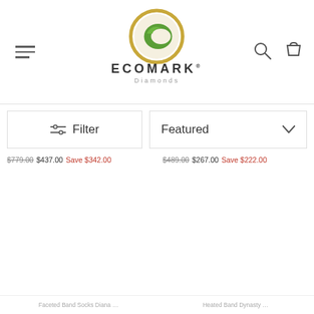ECOMARK Diamonds — navigation header with logo, hamburger menu, search and cart icons
Filter   Featured ∨
$779.00  $437.00  Save $342.00   $489.00  $267.00  Save $222.00
Faceted Band Socks Diana ...   Heated Band Dynasty ...